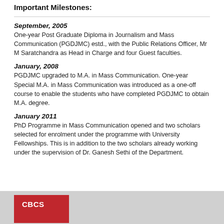Important Milestones:
September, 2005
One-year Post Graduate Diploma in Journalism and Mass Communication (PGDJMC) estd., with the Public Relations Officer, Mr M Saratchandra as Head in Charge and four Guest faculties.
January, 2008
PGDJMC upgraded to M.A. in Mass Communication. One-year Special M.A. in Mass Communication was introduced as a one-off course to enable the students who have completed PGDJMC to obtain M.A. degree.
January 2011
PhD Programme in Mass Communication opened and two scholars selected for enrolment under the programme with University Fellowships. This is in addition to the two scholars already working under the supervision of Dr. Ganesh Sethi of the Department.
CBCS